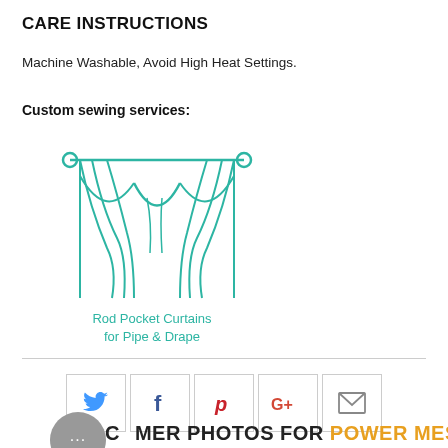CARE INSTRUCTIONS
Machine Washable, Avoid High Heat Settings.
Custom sewing services:
[Figure (illustration): Teal line-art icon of rod pocket curtains on a curtain rod, representing pipe and drape style.]
Rod Pocket Curtains
for Pipe & Drape
[Figure (infographic): A row of social media share buttons: Twitter (bird icon, blue), Facebook (f icon, dark blue), Pinterest (P icon, red), Google+ (G+ icon, red), and an email/envelope icon (gray), each in a square bordered box.]
CUSTOMER PHOTOS FOR POWER MESH